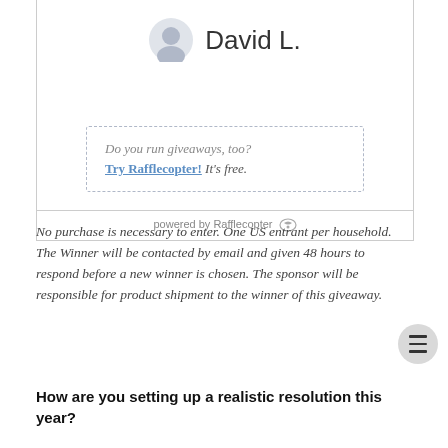[Figure (screenshot): Rafflecopter giveaway widget showing winner 'David L.' with a user avatar icon, a dashed promotional box reading 'Do you run giveaways, too? Try Rafflecopter! It's free.', and footer 'powered by Rafflecopter' with logo.]
No purchase is necessary to enter. One US entrant per household. The Winner will be contacted by email and given 48 hours to respond before a new winner is chosen. The sponsor will be responsible for product shipment to the winner of this giveaway.
How are you setting up a realistic resolution this year?